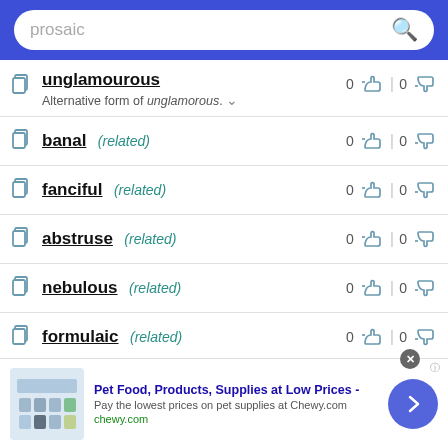[Figure (screenshot): Search bar with text 'prosaic' and magnifying glass icon on blue background]
unglamourous — Alternative form of unglamorous. 0 thumbs up | 0 thumbs down
banal (related) 0 thumbs up | 0 thumbs down
fanciful (related) 0 thumbs up | 0 thumbs down
abstruse (related) 0 thumbs up | 0 thumbs down
nebulous (related) 0 thumbs up | 0 thumbs down
formulaic (related) 0 thumbs up | 0 thumbs down
[Figure (screenshot): Advertisement banner for Chewy.com: Pet Food, Products, Supplies at Low Prices - Pay the lowest prices on pet supplies at Chewy.com]